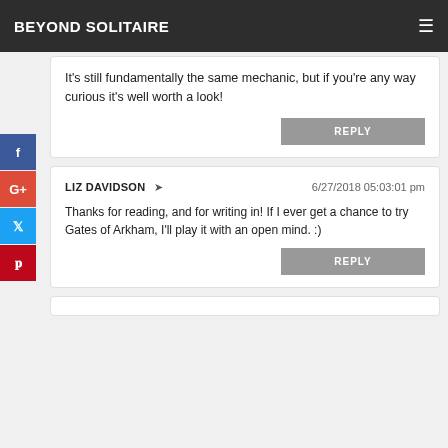BEYOND SOLITAIRE
It's still fundamentally the same mechanic, but if you're any way curious it's well worth a look!
REPLY
LIZ DAVIDSON  6/27/2018 05:03:01 pm
Thanks for reading, and for writing in! If I ever get a chance to try Gates of Arkham, I'll play it with an open mind. :)
REPLY